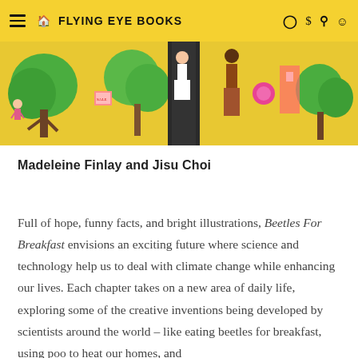FLYING EYE BOOKS
[Figure (illustration): Colorful illustrated book cover showing people, trees, and urban scenes on a bright yellow background]
Madeleine Finlay and Jisu Choi
Full of hope, funny facts, and bright illustrations, Beetles For Breakfast envisions an exciting future where science and technology help us to deal with climate change while enhancing our lives. Each chapter takes on a new area of daily life, exploring some of the creative inventions being developed by scientists around the world – like eating beetles for breakfast, using poo to heat our homes, and